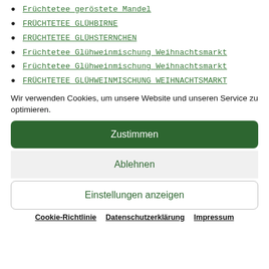Früchtetee geröstete Mandel
FRÜCHTETEE GLÜHBIRNE
FRÜCHTETEE GLÜHSTERNCHEN
Früchtetee Glühweinmischung Weihnachtsmarkt
Früchtetee Glühweinmischung Weihnachtsmarkt
FRÜCHTETEE GLÜHWEINMISCHUNG WEIHNACHTSMARKT
Wir verwenden Cookies, um unsere Website und unseren Service zu optimieren.
Zustimmen
Ablehnen
Einstellungen anzeigen
Cookie-Richtlinie   Datenschutzerklärung   Impressum